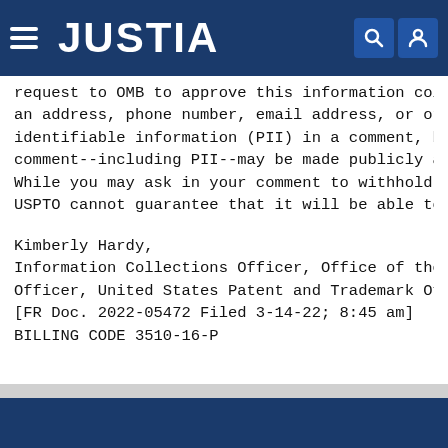JUSTIA
request to OMB to approve this information col an address, phone number, email address, or ot identifiable information (PII) in a comment, b comment--including PII--may be made publicly a While you may ask in your comment to withhold USPTO cannot guarantee that it will be able to
Kimberly Hardy,
Information Collections Officer, Office of the Officer, United States Patent and Trademark Of [FR Doc. 2022-05472 Filed 3-14-22; 8:45 am]
BILLING CODE 3510-16-P